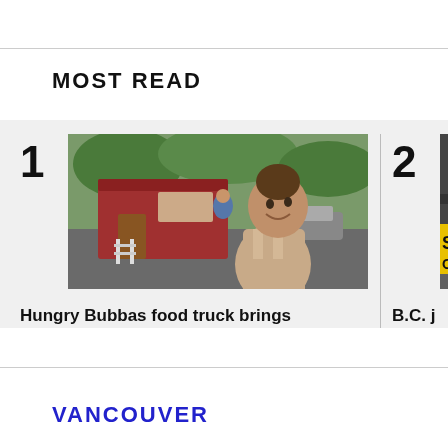MOST READ
[Figure (photo): Photo of a woman smiling in front of a red food truck kiosk, outdoors with trees in the background]
Hungry Bubbas food truck brings Indigenous flavours to Duncan
[Figure (photo): Partially visible photo showing what appears to be a sign reading 'OLD G...' with yellow and black text]
B.C. j group sente
VANCOUVER